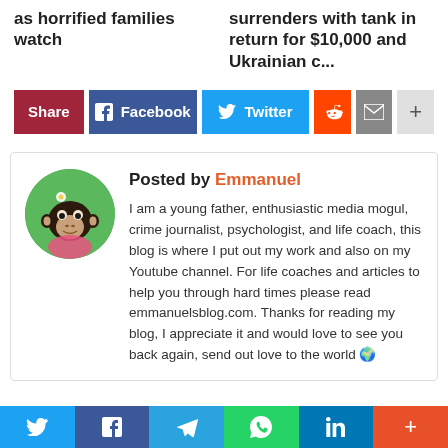as horrified families watch
surrenders with tank in return for $10,000 and Ukrainian c...
[Figure (infographic): Social share buttons: Share label (dark red), Facebook (blue), Twitter (light blue), Reddit (orange), Mail (gray), Plus (light gray)]
[Figure (photo): Author avatar: circular image of a monkey character dressed in pink]
Posted by Emmanuel
I am a young father, enthusiastic media mogul, crime journalist, psychologist, and life coach, this blog is where I put out my work and also on my Youtube channel. For life coaches and articles to help you through hard times please read emmanuelsblog.com. Thanks for reading my blog, I appreciate it and would love to see you back again, send out love to the world 🌍
[Figure (infographic): Bottom navigation bar with social icons: Twitter, Facebook, Telegram, WhatsApp, LinkedIn, Plus]